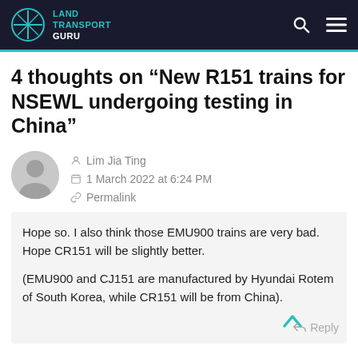Land Transport Guru
4 thoughts on “New R151 trains for NSEWL undergoing testing in China”
Lim Jia Ting
1 March 2022 at 6:24 PM
Permalink
Hope so. I also think those EMU900 trains are very bad. Hope CR151 will be slightly better.

(EMU900 and CJ151 are manufactured by Hyundai Rotem of South Korea, while CR151 will be from China).